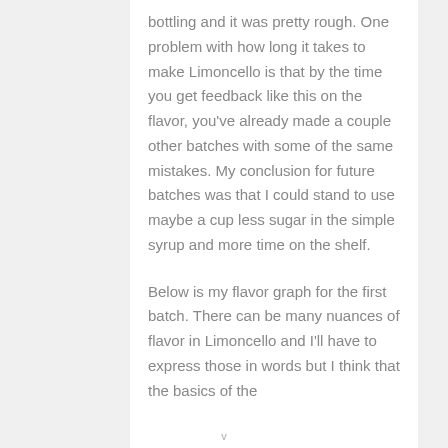bottling and it was pretty rough. One problem with how long it takes to make Limoncello is that by the time you get feedback like this on the flavor, you've already made a couple other batches with some of the same mistakes. My conclusion for future batches was that I could stand to use maybe a cup less sugar in the simple syrup and more time on the shelf.
Below is my flavor graph for the first batch. There can be many nuances of flavor in Limoncello and I'll have to express those in words but I think that the basics of the